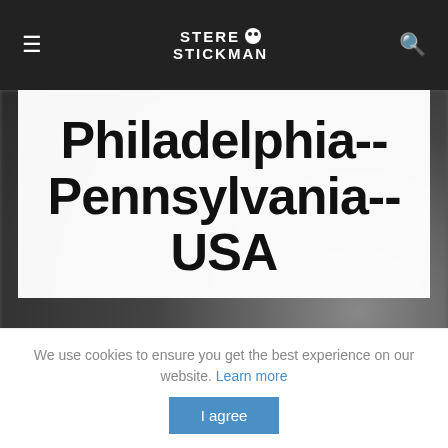≡  STEREO STICKMAN  🔍
Philadelphia-- Pennsylvania-- USA
[Figure (other): Black banner with text LAURA CHEADLE in large serif uppercase letters]
We use cookies to ensure you get the best experience on our website. Learn more
I agree